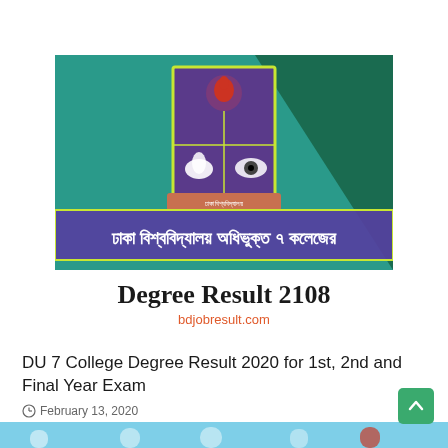[Figure (illustration): Banner showing Dhaka University 7 College logo/crest on teal/green background with Bengali text 'ঢাকা বিশ্ববিদ্যালয় অধিভুক্ত ৭ কলেজের' and below it 'Degree Result 2108' title with bdjobresult.com URL]
DU 7 College Degree Result 2020 for 1st, 2nd and Final Year Exam
February 13, 2020
[Figure (photo): Partial view of another banner image at the bottom of the page, appears to show academic/university related imagery in blue/teal tones]